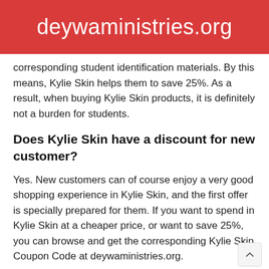deywaministries.org
corresponding student identification materials. By this means, Kylie Skin helps them to save 25%. As a result, when buying Kylie Skin products, it is definitely not a burden for students.
Does Kylie Skin have a discount for new customer?
Yes. New customers can of course enjoy a very good shopping experience in Kylie Skin, and the first offer is specially prepared for them. If you want to spend in Kylie Skin at a cheaper price, or want to save 25%, you can browse and get the corresponding Kylie Skin Coupon Code at deywaministries.org.